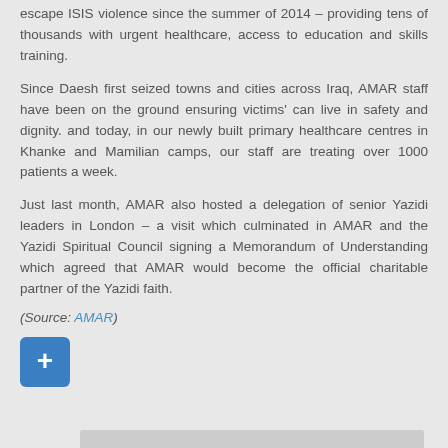escape ISIS violence since the summer of 2014 – providing tens of thousands with urgent healthcare, access to education and skills training.
Since Daesh first seized towns and cities across Iraq, AMAR staff have been on the ground ensuring victims' can live in safety and dignity. and today, in our newly built primary healthcare centres in Khanke and Mamilian camps, our staff are treating over 1000 patients a week.
Just last month, AMAR also hosted a delegation of senior Yazidi leaders in London – a visit which culminated in AMAR and the Yazidi Spiritual Council signing a Memorandum of Understanding which agreed that AMAR would become the official charitable partner of the Yazidi faith.
(Source: AMAR)
[Figure (other): Blue square button with a white plus (+) symbol, used as an action/expand button]